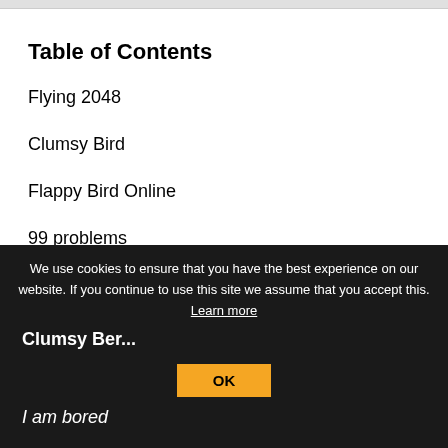Table of Contents
Flying 2048
Clumsy Bird
Flappy Bird Online
99 problems
A7X Flap
Clumsy Ber...
I am bored
We use cookies to ensure that you have the best experience on our website. If you continue to use this site we assume that you accept this. Learn more